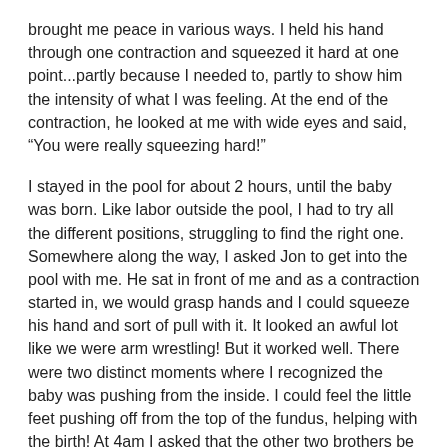brought me peace in various ways. I held his hand through one contraction and squeezed it hard at one point...partly because I needed to, partly to show him the intensity of what I was feeling. At the end of the contraction, he looked at me with wide eyes and said, “You were really squeezing hard!”
I stayed in the pool for about 2 hours, until the baby was born. Like labor outside the pool, I had to try all the different positions, struggling to find the right one. Somewhere along the way, I asked Jon to get into the pool with me. He sat in front of me and as a contraction started in, we would grasp hands and I could squeeze his hand and sort of pull with it. It looked an awful lot like we were arm wrestling! But it worked well. There were two distinct moments where I recognized the baby was pushing from the inside. I could feel the little feet pushing off from the top of the fundus, helping with the birth! At 4am I asked that the other two brothers be woke up. Jon wasn’t sure it was the right time, but I could sense we were getting close and I needed to know everyone was where they were supposed to be. I didn’t want anyone to miss the moment.
Sometime after Jon got into the pool, I finally had to abandon the th...